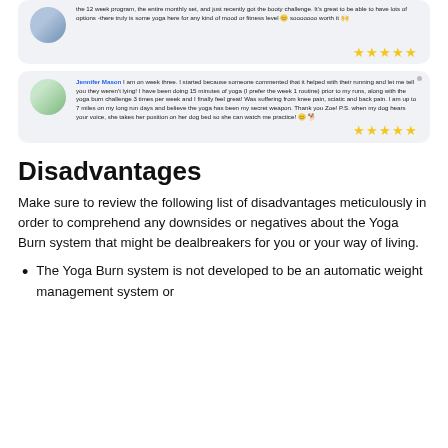[Figure (other): User review card (partial) with avatar, star rating, and review text about 12 week program, monthly set, and booty challenge.]
[Figure (other): User review card by Jennifer Mason with avatar, star rating, and review text about yoga burn helping with running, knee pain, sciatic and back pain.]
Disadvantages
Make sure to review the following list of disadvantages meticulously in order to comprehend any downsides or negatives about the Yoga Burn system that might be dealbreakers for you or your way of living.
The Yoga Burn system is not developed to be an automatic weight management system or